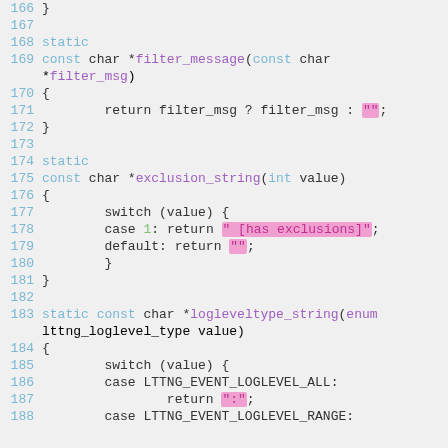[Figure (screenshot): Source code listing in C showing functions filter_message and exclusion_string and logleveltype_string, with line numbers 166-188, syntax highlighted in a monospace font on a light gray background. String literals are highlighted in pink/magenta.]